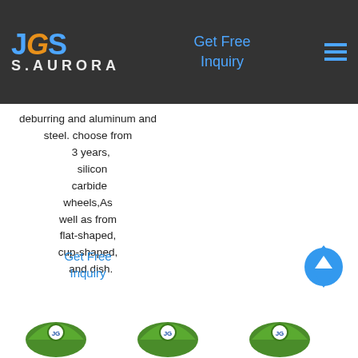JC S.AURORA | Get Free Inquiry [hamburger menu]
deburring and aluminum and steel. choose from 3 years, silicon carbide wheels,As well as from flat-shaped, cup-shaped, and dish.
Get Free Inquiry
[Figure (illustration): Three green product/wheel logo icons at bottom of page]
[Figure (other): Blue teardrop-shaped back-to-top button with upward chevron arrow]